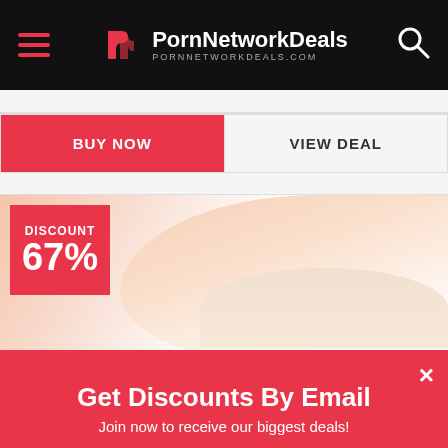PornNetworkDeals — PORNNETWORKDEALS.COM
BUY NOW | VIEW DEAL
[Figure (photo): Blurred promotional image with a DISCOUNT 67% badge in red overlaid on the top-left corner]
Get Discounts By Email
Join now to receive our biggest deals!
Email address here...
Sign Up